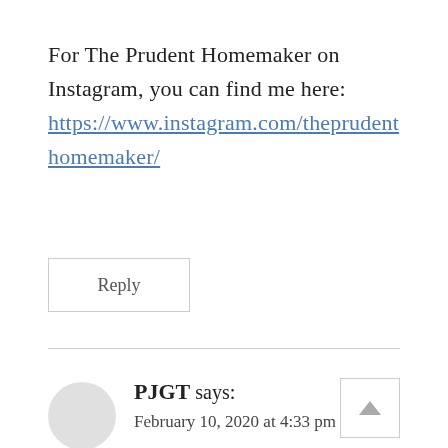For The Prudent Homemaker on Instagram, you can find me here: https://www.instagram.com/theprudenthomemaker/
Reply
PJGT says: February 10, 2020 at 4:33 pm